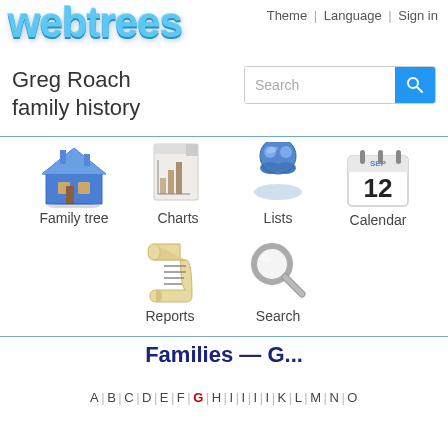[Figure (logo): webtrees logo in blue 3D text]
Theme | Language | Sign in
Greg Roach family history
[Figure (other): Search bar with blue search button]
[Figure (other): Navigation icons: Family tree, Charts, Lists, Calendar, Reports, Search]
Families — G...
A | B | C | D | E | F | G | H | I | I | I | I | K | L | M | N | O